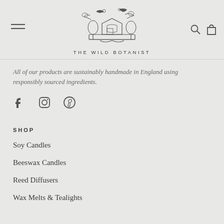[Figure (logo): The Wild Botanist brand logo with decorative botanical crest featuring birds, trees, and foliage above the brand name text]
All of our products are sustainably handmade in England using responsibly sourced ingredients.
[Figure (infographic): Social media icons: Facebook, Instagram, Pinterest]
SHOP
Soy Candles
Beeswax Candles
Reed Diffusers
Wax Melts & Tealights